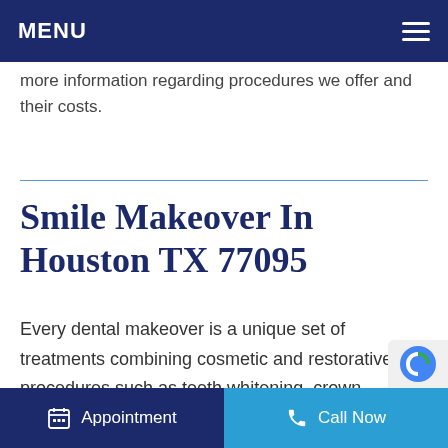MENU
more information regarding procedures we offer and their costs.
Smile Makeover In Houston TX 77095
Every dental makeover is a unique set of treatments combining cosmetic and restorative oral procedures such as teeth whitening, crown placement, tooth fillings, dental veneers, implants, bridges, etc.
Appointment   Call Now